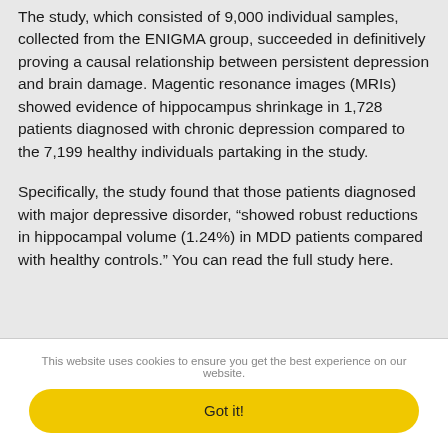The study, which consisted of 9,000 individual samples, collected from the ENIGMA group, succeeded in definitively proving a causal relationship between persistent depression and brain damage. Magentic resonance images (MRIs) showed evidence of hippocampus shrinkage in 1,728 patients diagnosed with chronic depression compared to the 7,199 healthy individuals partaking in the study.
Specifically, the study found that those patients diagnosed with major depressive disorder, “showed robust reductions in hippocampal volume (1.24%) in MDD patients compared with healthy controls.” You can read the full study here.
This website uses cookies to ensure you get the best experience on our website.
Got it!